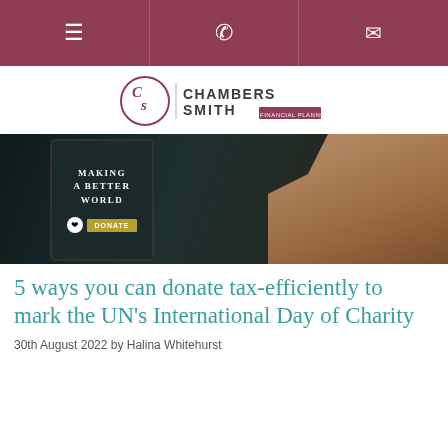Navigation bar with menu, phone, and email icons
[Figure (logo): Chambers Smith Financial Planning logo with CS monogram in a circle and vertical divider]
[Figure (photo): Hands holding a smartphone showing 'Making a Better World' with a Donate button and heart icon]
5 ways you can donate tax-efficiently to mark the UN's International Day of Charity
30th August 2022 by Halina Whitehurst